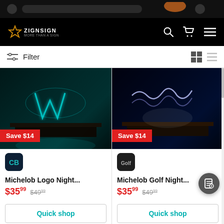[Figure (screenshot): Browser top bar with dark background]
[Figure (logo): ZignSign logo with star icon on black nav bar]
Filter
[Figure (photo): Michelob Logo neon sign product image with Save $14 badge]
Michelob Logo Night...
$35.99  $49.99
Quick shop
Add to cart
[Figure (photo): Michelob Golf neon sign product image with Save $14 badge]
Michelob Golf Night...
$35.99  $49.99
Quick shop
Add to cart